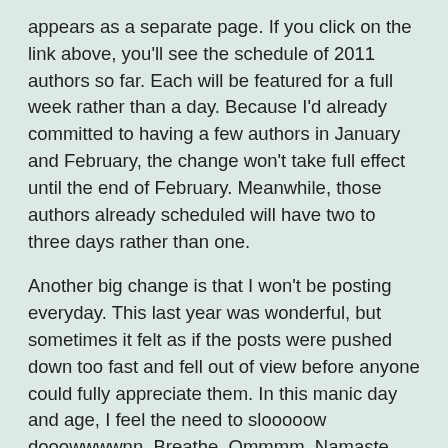appears as a separate page. If you click on the link above, you'll see the schedule of 2011 authors so far. Each will be featured for a full week rather than a day. Because I'd already committed to having a few authors in January and February, the change won't take full effect until the end of February. Meanwhile, those authors already scheduled will have two to three days rather than one.
Another big change is that I won't be posting everyday. This last year was wonderful, but sometimes it felt as if the posts were pushed down too fast and fell out of view before anyone could fully appreciate them. In this manic day and age, I feel the need to slooooow dooowwwwnn. Breathe. Ommmm. Namaste. So I'll post a few times a week, but not every day.
More importantly, this will allow me to focus on writing. I'm embarrassed to say how many stories I've begun and not finished. Dozens, really. Time to get those puppies weaned, fat and happy, and put 'em in the window.
I'm mulling over some other changes as well. Stay tuned.